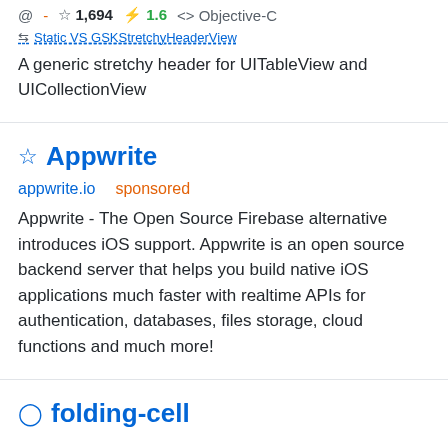@ - ☆ 1,694 ⚡ 1.6 <> Objective-C
Static VS GSKStretchyHeaderView
A generic stretchy header for UITableView and UICollectionView
Appwrite
appwrite.io   sponsored
Appwrite - The Open Source Firebase alternative introduces iOS support. Appwrite is an open source backend server that helps you build native iOS applications much faster with realtime APIs for authentication, databases, files storage, cloud functions and much more!
folding-cell